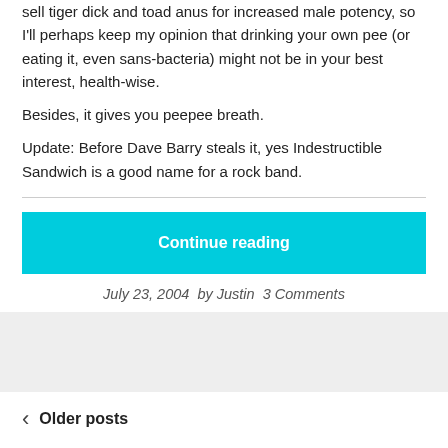sell tiger dick and toad anus for increased male potency, so I'll perhaps keep my opinion that drinking your own pee (or eating it, even sans-bacteria) might not be in your best interest, health-wise.
Besides, it gives you peepee breath.
Update: Before Dave Barry steals it, yes Indestructible Sandwich is a good name for a rock band.
[Figure (other): Cyan 'Continue reading' button]
July 23, 2004  by Justin  3 Comments
Older posts